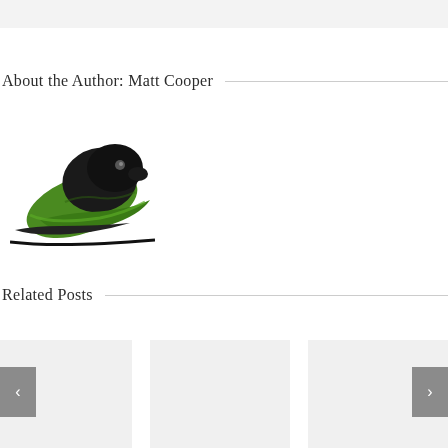About the Author: Matt Cooper
[Figure (logo): A stylized black and green bird/penguin logo illustration]
Related Posts
[Figure (other): Three placeholder image cards for related posts with previous and next navigation arrows]